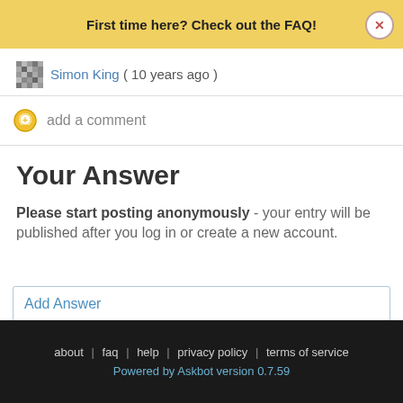First time here? Check out the FAQ!
Simon King ( 10 years ago )
add a comment
Your Answer
Please start posting anonymously - your entry will be published after you log in or create a new account.
Add Answer
about | faq | help | privacy policy | terms of service
Powered by Askbot version 0.7.59